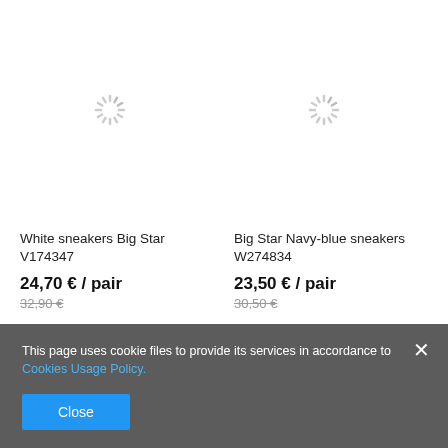[Figure (illustration): Loading spinner icon (gray radiating lines in a circle) representing a product image placeholder for White sneakers Big Star V174347]
[Figure (illustration): Loading spinner icon (gray radiating lines in a circle) representing a product image placeholder for Big Star Navy-blue sneakers W274834]
White sneakers Big Star V174347
24,70 € / pair
32,90 €
Big Star Navy-blue sneakers W274834
23,50 € / pair
30,50 €
This page uses cookie files to provide its services in accordance to Cookies Usage Policy.
Close